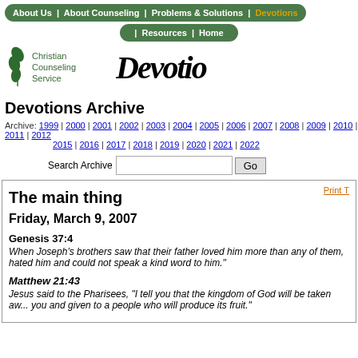About Us | About Counseling | Problems & Solutions | Devotions | Resources | Home
[Figure (logo): Christian Counseling Service logo with leaf graphic]
Devotio...
Devotions Archive
Archive: 1999 | 2000 | 2001 | 2002 | 2003 | 2004 | 2005 | 2006 | 2007 | 2008 | 2009 | 2010 | 2011 | 2012 | 2015 | 2016 | 2017 | 2018 | 2019 | 2020 | 2021 | 2022
Search Archive [input] Go
Print T...
The main thing
Friday, March 9, 2007
Genesis 37:4
When Joseph's brothers saw that their father loved him more than any of them, hated him and could not speak a kind word to him.
Matthew 21:43
Jesus said to the Pharisees, "I tell you that the kingdom of God will be taken aw... you and given to a people who will produce its fruit."